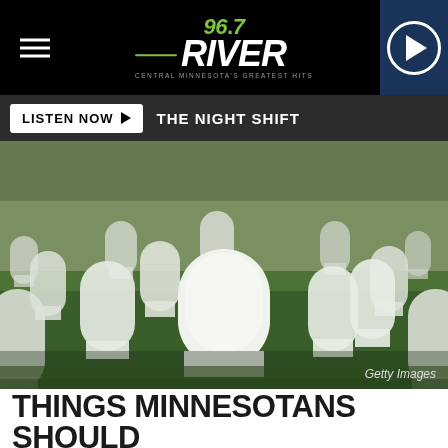96.7 The River — Central Minnesota's Greatest Hits
LISTEN NOW ▶  THE NIGHT SHIFT
[Figure (photo): Rows of white military grave markers in a national cemetery on a green lawn, shot with shallow depth of field. Credit: Getty Images]
Getty Images
THINGS MINNESOTANS SHOULD